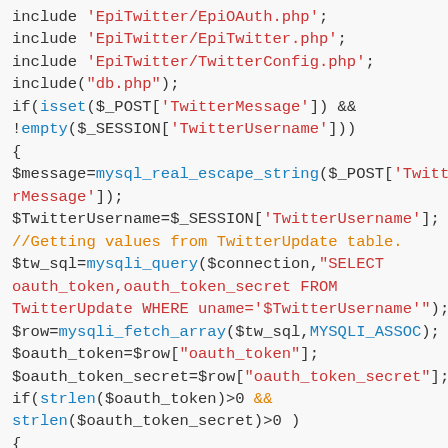PHP code snippet showing Twitter OAuth integration with MySQL database queries